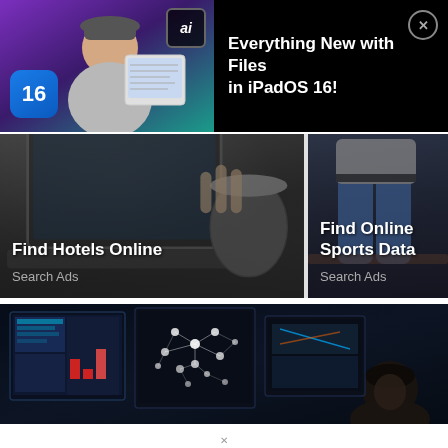[Figure (screenshot): Video thumbnail showing a person holding an iPad with iOS 16 app, purple/teal gradient background, iOS 16 logo badge, AI badge in corner, black panel with title text and close button]
Everything New with Files in iPadOS 16!
[Figure (photo): Ad card showing laptop and coffee cup on dark table with overlay text Find Hotels Online and Search Ads label]
[Figure (photo): Ad card showing person in jeans, partially cropped, dark overlay with text Find Online Sports Dat[a] and Search Ads label]
[Figure (photo): Dark photo of person sitting in front of multiple monitor screens showing data visualizations and network diagrams]